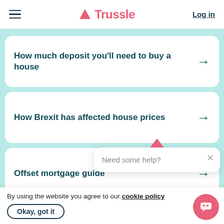Trussle | Log in
How much deposit you'll need to buy a house
How Brexit has affected house prices
Offset mortgage guide
New builds gu...
Need some help?
By using the website you agree to our cookie policy
Okay, got it